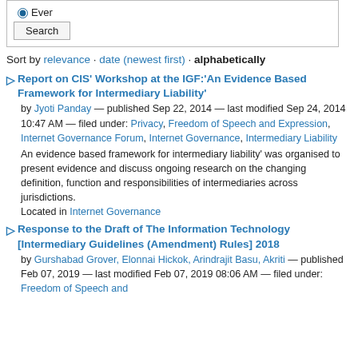[Figure (screenshot): Search widget with radio button 'Ever' selected and a Search button]
Sort by relevance · date (newest first) · alphabetically
Report on CIS' Workshop at the IGF:'An Evidence Based Framework for Intermediary Liability'
by Jyoti Panday — published Sep 22, 2014 — last modified Sep 24, 2014 10:47 AM — filed under: Privacy, Freedom of Speech and Expression, Internet Governance Forum, Internet Governance, Intermediary Liability
An evidence based framework for intermediary liability' was organised to present evidence and discuss ongoing research on the changing definition, function and responsibilities of intermediaries across jurisdictions. Located in Internet Governance
Response to the Draft of The Information Technology [Intermediary Guidelines (Amendment) Rules] 2018
by Gurshabad Grover, Elonnai Hickok, Arindrajit Basu, Akriti — published Feb 07, 2019 — last modified Feb 07, 2019 08:06 AM — filed under: Freedom of Speech and